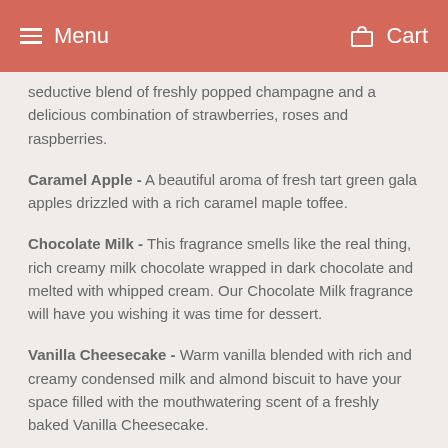Menu   Cart
seductive blend of freshly popped champagne and a delicious combination of strawberries, roses and raspberries.
Caramel Apple - A beautiful aroma of fresh tart green gala apples drizzled with a rich caramel maple toffee.
Chocolate Milk - This fragrance smells like the real thing, rich creamy milk chocolate wrapped in dark chocolate and melted with whipped cream. Our Chocolate Milk fragrance will have you wishing it was time for dessert.
Vanilla Cheesecake - Warm vanilla blended with rich and creamy condensed milk and almond biscuit to have your space filled with the mouthwatering scent of a freshly baked Vanilla Cheesecake.
Sweet Pea & Jasmine - Sweet pea and white jasmine are combined to create the ultimate in floral elegance. With delicately added notes of watermelon and cucumber for the fruity elegance,